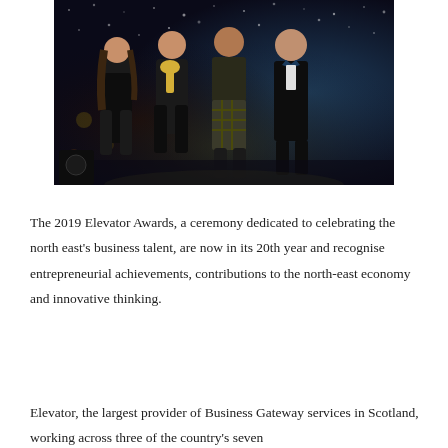[Figure (photo): Four people posing together at an awards ceremony. Three women and one man in formal attire including kilts and evening wear, standing on a stage with a sparkling backdrop.]
The 2019 Elevator Awards, a ceremony dedicated to celebrating the north east's business talent, are now in its 20th year and recognise entrepreneurial achievements, contributions to the north-east economy and innovative thinking.
Elevator, the largest provider of Business Gateway services in Scotland, working across three of the country's seven